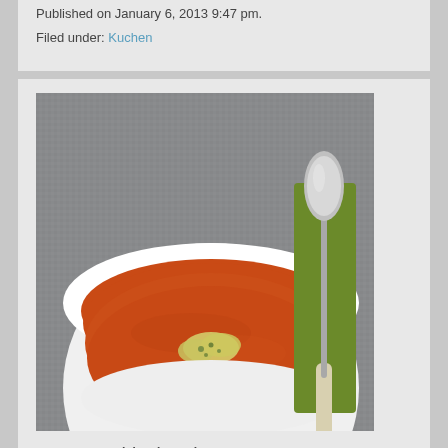Published on January 6, 2013 9:47 pm.
Filed under: Kuchen
[Figure (photo): A white bowl of orange tomato soup with a dollop of cream/herb garnish, placed on a gray woven fabric background. A green napkin with a silver spoon rests to the right of the bowl.]
vegan-und-lecker.de
Published on January 6, 2013 9:47 pm.
Filed under: Suppe